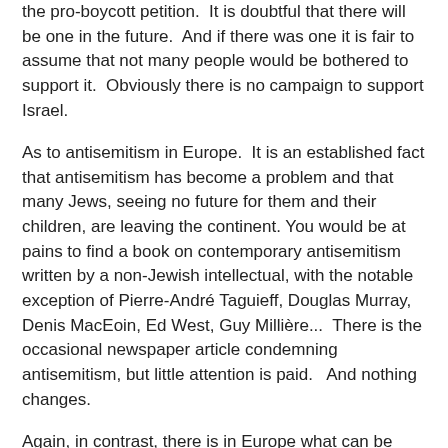the pro-boycott petition.  It is doubtful that there will be one in the future.  And if there was one it is fair to assume that not many people would be bothered to support it.  Obviously there is no campaign to support Israel.
As to antisemitism in Europe.  It is an established fact that antisemitism has become a problem and that many Jews, seeing no future for them and their children, are leaving the continent. You would be at pains to find a book on contemporary antisemitism written by a non-Jewish intellectual, with the notable exception of Pierre-André Taguieff, Douglas Murray, Denis MacEoin, Ed West, Guy Millière...  There is the occasional newspaper article condemning antisemitism, but little attention is paid.   And nothing changes.
Again, in contrast, there is in Europe what can be called an "industry" producing a large number of books, articles and studies depicting Israel as a racist, apartheid country.  The contrary, of course, does not happen.